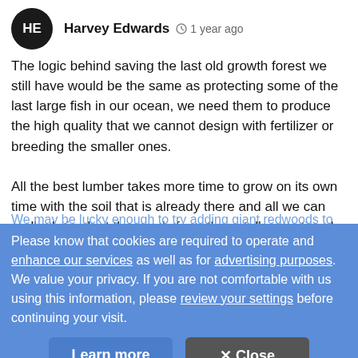[Figure (other): User avatar circle with initials HE in white on black background]
Harvey Edwards  1 year ago
The logic behind saving the last old growth forest we still have would be the same as protecting some of the last large fish in our ocean, we need them to produce the high quality that we cannot design with fertilizer or breeding the smaller ones.
All the best lumber takes more time to grow on its own time with the soil that is already there and all we can really do is plant the seeds from those tall exceptional ones and wait.
We may be lucky enough to try adding giant redwoods to the
Please know that cookies are required to operate and enhance our services as well as for advertising purposes. We value your privacy. If you are not comfortable with us using this information, please review your settings before continuing your visit.
Learn more
✕ Close
SHOW MORE